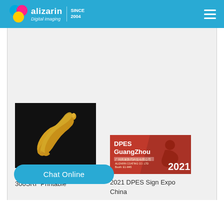alizarin Digital Imaging | SINCE 2004
[Figure (photo): Alizarin PrettyStickers HTS-300SRF product image — golden puma/cat silhouette on black background]
Alizarin PrettyStickers HTS-300SRF Printable
Flex for
[Figure (photo): 2021 DPES Sign Expo China — red banner with DPES GuangZhou text and 2021 branding]
2021 DPES Sign Expo China
Chat Online